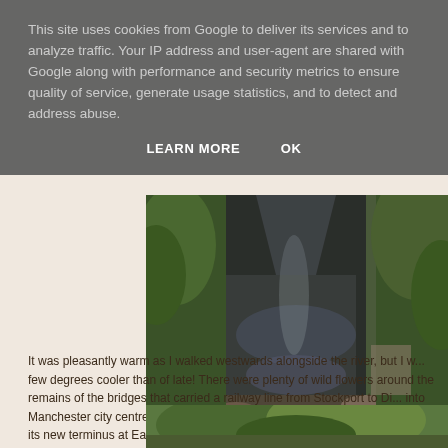This site uses cookies from Google to deliver its services and to analyze traffic. Your IP address and user-agent are shared with Google along with performance and security metrics to ensure quality of service, generate usage statistics, and to detect and address abuse.
LEARN MORE    OK
[Figure (photo): River photograph looking downstream from Gorsey Bank Footbridge, surrounded by trees and vegetation on both sides]
Looking downstream from Gorsey Bank Footbridge
It was pleasantly warm as I walked westwards alongside the river, but I w... few degrees cooler than of late!  There were plenty of wild flowers around the remains of the bridges that carried a railway line from Stockport to Di... into Manchester city centre, which may one-day be rebuilt to extend the M... from its new terminus at East Didsbury.
[Figure (photo): Partial view of a second photograph showing green trees and vegetation, partially visible at the bottom of the page]